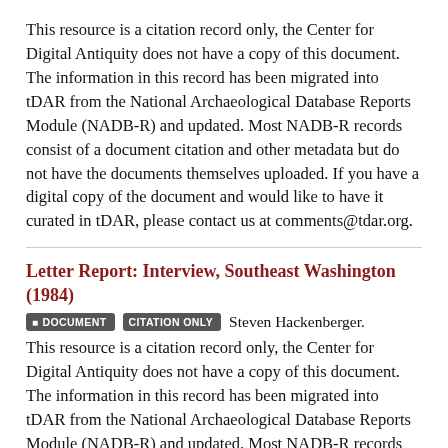This resource is a citation record only, the Center for Digital Antiquity does not have a copy of this document. The information in this record has been migrated into tDAR from the National Archaeological Database Reports Module (NADB-R) and updated. Most NADB-R records consist of a document citation and other metadata but do not have the documents themselves uploaded. If you have a digital copy of the document and would like to have it curated in tDAR, please contact us at comments@tdar.org.
Letter Report: Interview, Southeast Washington (1984)
DOCUMENT   CITATION ONLY   Steven Hackenberger.
This resource is a citation record only, the Center for Digital Antiquity does not have a copy of this document. The information in this record has been migrated into tDAR from the National Archaeological Database Reports Module (NADB-R) and updated. Most NADB-R records consist of a document citation and other metadata but do